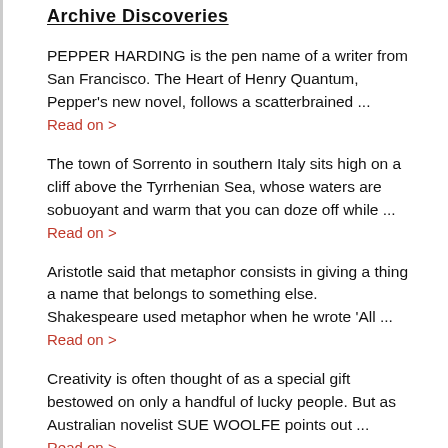Archive Discoveries
PEPPER HARDING is the pen name of a writer from San Francisco. The Heart of Henry Quantum, Pepper's new novel, follows a scatterbrained ...
Read on >
The town of Sorrento in southern Italy sits high on a cliff above the Tyrrhenian Sea, whose waters are sobuoyant and warm that you can doze off while ...
Read on >
Aristotle said that metaphor consists in giving a thing a name that belongs to something else. Shakespeare used metaphor when he wrote 'All ...
Read on >
Creativity is often thought of as a special gift bestowed on only a handful of lucky people. But as Australian novelist SUE WOOLFE points out ...
Read on >